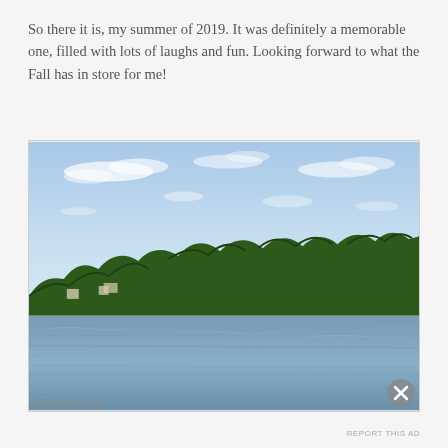So there it is, my summer of 2019. It was definitely a memorable one, filled with lots of laughs and fun. Looking forward to what the Fall has in store for me!
[Figure (photo): Outdoor lake scene viewed from the water, with a blue sky and scattered white clouds above, a treeline of dense green trees along the far shore, some houses or structures visible through the trees, and calm blue lake water in the foreground.]
Advertisements